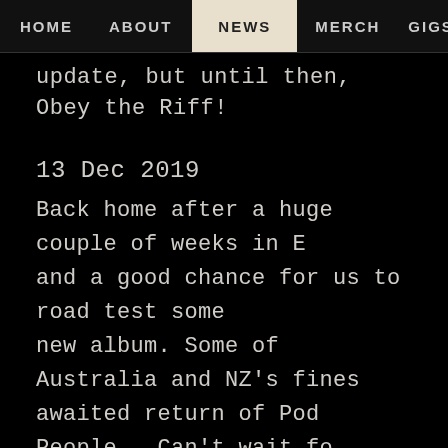HOME   ABOUT   NEWS   MERCH   GIGS
update, but until then, Obey the Riff!
13 Dec 2019
Back home after a huge couple of weeks in [Europe] and a good chance for us to road test some [material from the] new album. Some of Australia and NZ's finest... awaited return of Pod People...Can't wait fo[r that]... tracking beds for the new album before mo[ving on to] things off. Toyland was brilliant and engineer[ed a great] drum sound. Having Fooz producing us again [means he] gets what we are trying to achieve and we